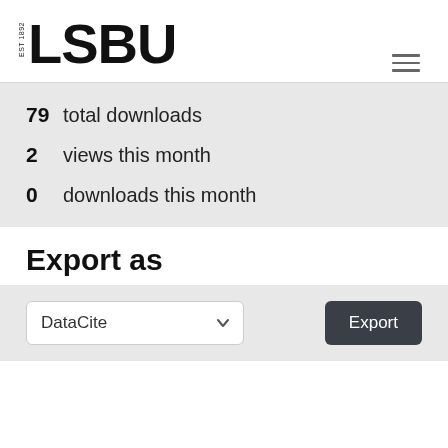[Figure (logo): LSBU logo with EST 1892 text rotated vertically and LSBU in bold large text]
[Figure (other): Hamburger menu icon with three horizontal lines]
79 total downloads
2 views this month
0 downloads this month
Export as
DataCite [dropdown] Export [button]